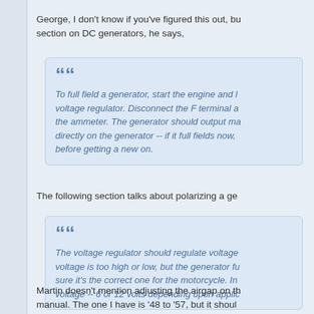George, I don't know if you've figured this out, but section on DC generators, he says,
To full field a generator, start the engine and b... voltage regulator. Disconnect the F terminal a... the ammeter. The generator should output ma... directly on the generator -- if it full fields now, ... before getting a new on.
The following section talks about polarizing a ge...
The voltage regulator should regulate voltage... voltage is too high or low, but the generator fu... sure it's the correct one for the motorcycle. In... voltage -- 6 or 12 volts depending upon applic...
Martin doesn't mention adjusting the airgap on th... manual. The one I have is '48 to '57, but it shoul...